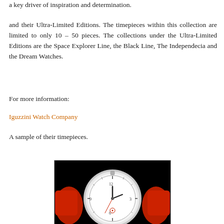a key driver of inspiration and determination.
and their Ultra-Limited Editions. The timepieces within this collection are limited to only 10 – 50 pieces. The collections under the Ultra-Limited Editions are the Space Explorer Line, the Black Line, The Independecia and the Dream Watches.
For more information:
Iguzzini Watch Company
A sample of their timepieces.
[Figure (photo): A luxury watch with a white dial and red leather strap against a black background, showing a round timepiece with minimalist face design.]